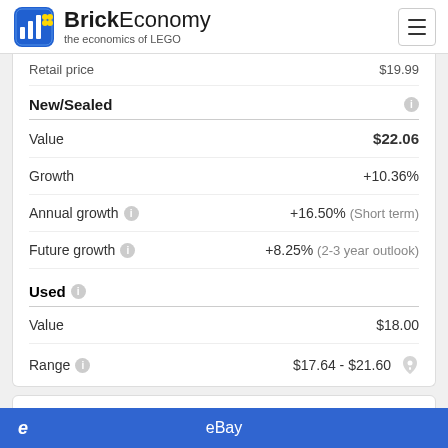BrickEconomy – the economics of LEGO
Retail price  $19.99
New/Sealed
Value  $22.06
Growth  +10.36%
Annual growth  +16.50% (Short term)
Future growth  +8.25% (2-3 year outlook)
Used
Value  $18.00
Range  $17.64 - $21.60
Quick Buy
eBay